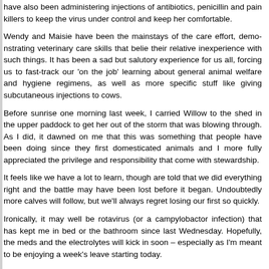have also been administering injections of antibiotics, penicillin and pain killers to keep the virus under control and keep her comfortable.
Wendy and Maisie have been the mainstays of the care effort, demonstrating veterinary care skills that belie their relative inexperience with such things. It has been a sad but salutory experience for us all, forcing us to fast-track our 'on the job' learning about general animal welfare and hygiene regimens, as well as more specific stuff like giving subcutaneous injections to cows.
Before sunrise one morning last week, I carried Willow to the shed in the upper paddock to get her out of the storm that was blowing through. As I did, it dawned on me that this was something that people have been doing since they first domesticated animals and I more fully appreciated the privilege and responsibility that come with stewardship.
It feels like we have a lot to learn, though are told that we did everything right and the battle may have been lost before it began. Undoubtedly more calves will follow, but we'll always regret losing our first so quickly.
Ironically, it may well be rotavirus (or a campylobactor infection) that has kept me in bed or the bathroom since last Wednesday. Hopefully, the meds and the electrolytes will kick in soon – especially as I'm meant to be enjoying a week's leave starting today.
To end on a brighter note, we have new tenants – a nice couple who moved into the cottage last Friday and are slowly settling in.
Tags: calf, calf scours, farm, rotavirus, willow